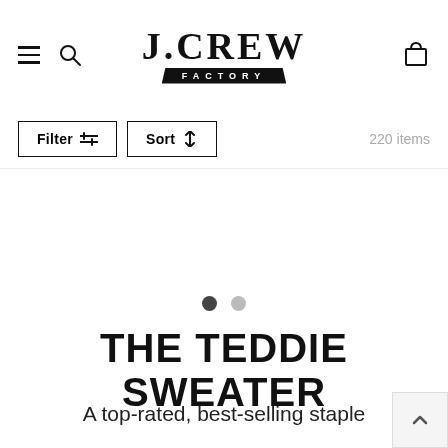J.CREW FACTORY
Filter  Sort  220 items
[Figure (other): Carousel pagination dots — one dark (active) and one light (inactive)]
THE TEDDIE SWEATER
A top-rated, best-selling staple